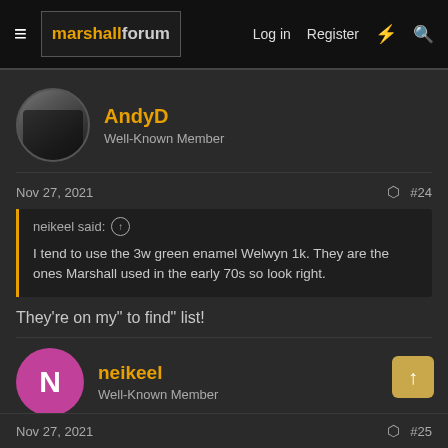marshallforum — Log in  Register
AndyD
Well-Known Member
Nov 27, 2021  #24
neikeel said: ↑
I tend to use the 3w green enamel Welwyn 1k. They are the ones Marshall used in the early 70s so look right.
They're on my" to find" list!
neikeel
Well-Known Member
Nov 27, 2021  #25